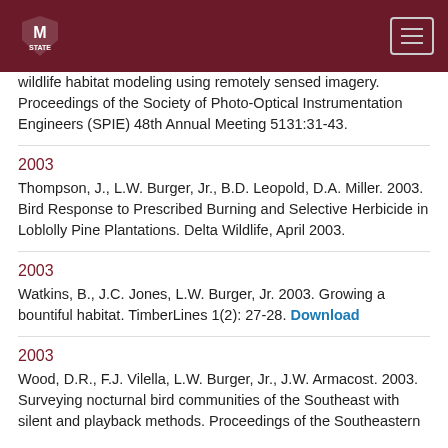Mississippi State University
wildlife habitat modeling using remotely sensed imagery. Proceedings of the Society of Photo-Optical Instrumentation Engineers (SPIE) 48th Annual Meeting 5131:31-43.
2003
Thompson, J., L.W. Burger, Jr., B.D. Leopold, D.A. Miller. 2003. Bird Response to Prescribed Burning and Selective Herbicide in Loblolly Pine Plantations. Delta Wildlife, April 2003.
2003
Watkins, B., J.C. Jones, L.W. Burger, Jr. 2003. Growing a bountiful habitat. TimberLines 1(2): 27-28. Download
2003
Wood, D.R., F.J. Vilella, L.W. Burger, Jr., J.W. Armacost. 2003. Surveying nocturnal bird communities of the Southeast with silent and playback methods. Proceedings of the Southeastern